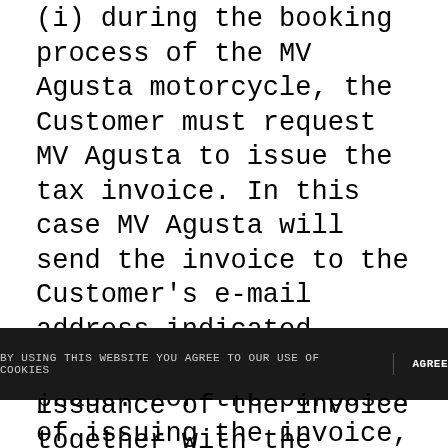(i) during the booking process of the MV Agusta motorcycle, the Customer must request MV Agusta to issue the tax invoice. In this case MV Agusta will send the invoice to the Customer's e-mail address indicated during the registration phase. For the purposes of issuing the invoice, the information provided by the Customer at the time of the booking order for the MV Agusta motorcycle is authentic. After the invoice is issued, it will not be possible to modify the data indicated, therefore MV Agusta invites the Customer to carefully check the data entered before proceeding with the sending of the booking order.
BY USING THIS WEBSITE YOU AGREE TO OUR USE OF COOKIES | AGREE
issuance of the invoice together with the